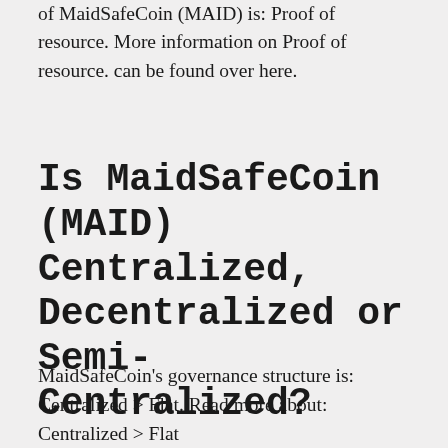of MaidSafeCoin (MAID) is: Proof of resource. More information on Proof of resource. can be found over here.
Is MaidSafeCoin (MAID) Centralized, Decentralized or Semi-Centralized?
MaidSafeCoin's governance structure is: Centralized > Flat. Read more about: Centralized > Flat